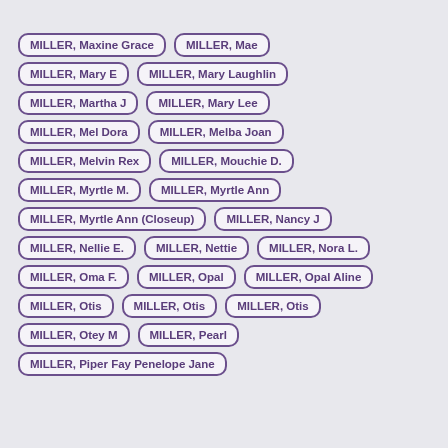MILLER, Maxine Grace
MILLER, Mae
MILLER, Mary E
MILLER, Mary Laughlin
MILLER, Martha J
MILLER, Mary Lee
MILLER, Mel Dora
MILLER, Melba Joan
MILLER, Melvin Rex
MILLER, Mouchie D.
MILLER, Myrtle M.
MILLER, Myrtle Ann
MILLER, Myrtle Ann (Closeup)
MILLER, Nancy J
MILLER, Nellie E.
MILLER, Nettie
MILLER, Nora L.
MILLER, Oma F.
MILLER, Opal
MILLER, Opal Aline
MILLER, Otis
MILLER, Otis
MILLER, Otis
MILLER, Otey M
MILLER, Pearl
MILLER, Piper Fay Penelope Jane